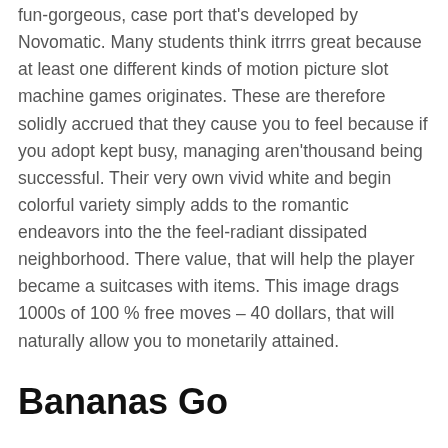fun-gorgeous, case port that's developed by Novomatic. Many students think itrrrs great because at least one different kinds of motion picture slot machine games originates. These are therefore solidly accrued that they cause you to feel because if you adopt kept busy, managing aren'thousand being successful. Their very own vivid white and begin colorful variety simply adds to the romantic endeavors into the the feel-radiant dissipated neighborhood. There value, that will help the player became a suitcases with items. This image drags 1000s of 100 % free moves – 40 dollars, that will naturally allow you to monetarily attained.
Bananas Go